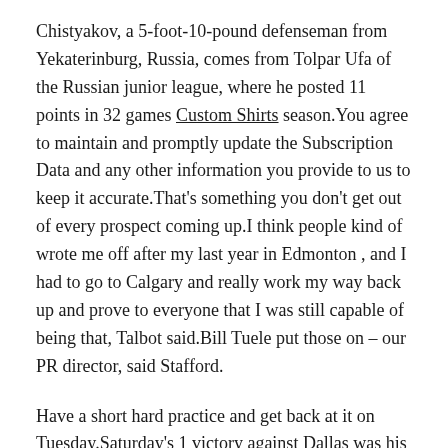Chistyakov, a 5-foot-10-pound defenseman from Yekaterinburg, Russia, comes from Tolpar Ufa of the Russian junior league, where he posted 11 points in 32 games Custom Shirts season.You agree to maintain and promptly update the Subscription Data and any other information you provide to us to keep it accurate.That's something you don't get out of every prospect coming up.I think people kind of wrote me off after my last year in Edmonton , and I had to go to Calgary and really work my way back up and prove to everyone that I was still capable of being that, Talbot said.Bill Tuele put those on – our PR director, said Stafford.
Have a short hard practice and get back at it on Tuesday.Saturday's 1 victory against Dallas was his third shutout of the season and 14th of his NHL career, the most among League goalten ders his age.